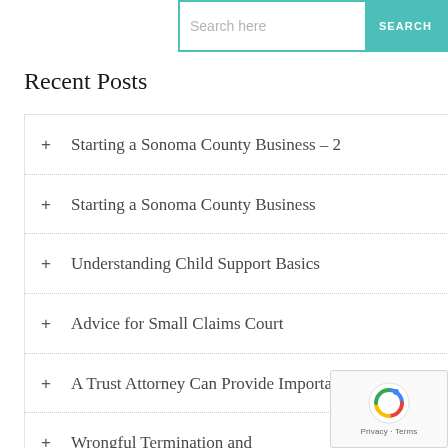Search here  SEARCH
Recent Posts
+ Starting a Sonoma County Business – 2
+ Starting a Sonoma County Business
+ Understanding Child Support Basics
+ Advice for Small Claims Court
+ A Trust Attorney Can Provide Important Help
+ Wrongful Termination and